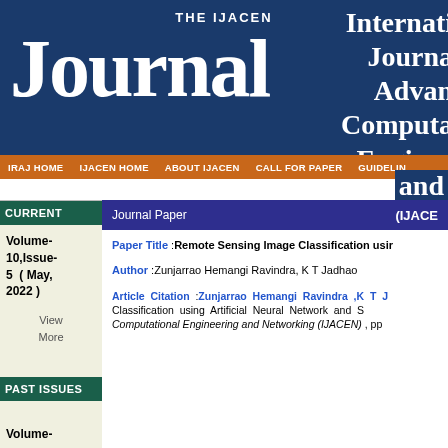THE IJACEN JOURNAL
International Journal of Advanced Computational Engineering and Networking
IRAJ HOME | IJACEN HOME | ABOUT IJACEN | CALL FOR PAPER | GUIDELINES and
CURRENT ISSUES
Volume-10,Issue-5 ( May, 2022 )
View More
Journal Paper (IJACEN)
Paper Title :Remote Sensing Image Classification using Artificial Neural Network and S...
Author :Zunjarrao Hemangi Ravindra, K T Jadhao
Article Citation :Zunjarrao Hemangi Ravindra ,K T J... Classification using Artificial Neural Network and S... Computational Engineering and Networking (IJACEN) , pp
PAST ISSUES
Volume-